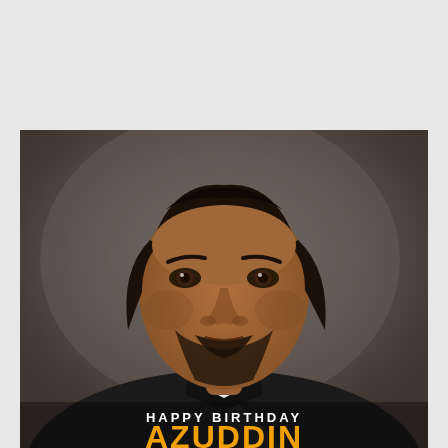[Figure (photo): Portrait photo of a man with dark shoulder-length hair and beard, wearing a dark jacket and white shirt. The photo has 'HAPPY BIRTHDAY' text in white and 'AZUDDIN' (partially visible) in gold/yellow letters overlaid at the bottom.]